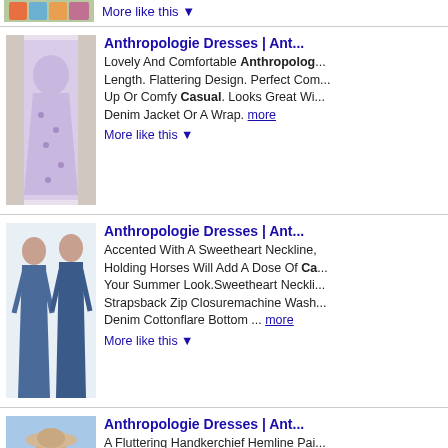[Figure (photo): Partial top image of colorful clothing item, cropped at top]
More like this ▼
[Figure (photo): Floral maxi dress on a hanger in a room]
Anthropologie Dresses | Ant...
Lovely And Comfortable Anthropolog... Length. Flattering Design. Perfect Com... Up Or Comfy Casual. Looks Great Wi... Denim Jacket Or A Wrap. more
More like this ▼
[Figure (photo): Two women in denim dresses with spaghetti straps]
Anthropologie Dresses | Ant...
Accented With A Sweetheart Neckline, Holding Horses Will Add A Dose Of Ca... Your Summer Look.Sweetheart Neckli... Strapsback Zip Closuremachine Wash... Denim Cottonflare Bottom ... more
More like this ▼
[Figure (photo): Woman in floral/print dress with wide brimmed hat]
Anthropologie Dresses | Ant...
A Fluttering Handkerchief Hemline Pai... Print Makes This Lightweight Layer Pe... Slip It On Over Lace-Up Trainers And ... Oversized Raffia Bag For Casual Pla... more
More like this ▼
[Figure (photo): Partial view of woman in similar floral/print dress]
Anthropologie Dresses | Ant...
A Fluttering Handkerchief Hemline Pai... Print Makes This Lightweight Layer Pe...